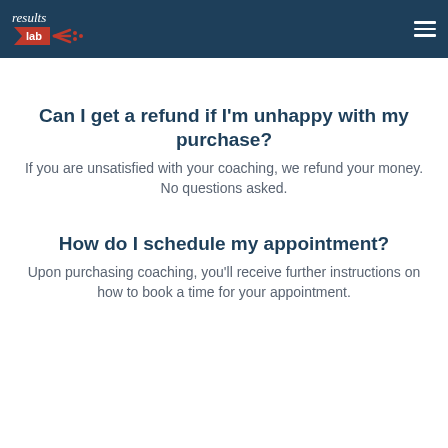[Figure (logo): Results Lab logo with red bowtie/megaphone icon on dark teal header bar with hamburger menu]
Can I get a refund if I'm unhappy with my purchase?
If you are unsatisfied with your coaching, we refund your money. No questions asked.
How do I schedule my appointment?
Upon purchasing coaching, you'll receive further instructions on how to book a time for your appointment.